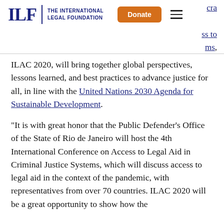ILF THE INTERNATIONAL LEGAL FOUNDATION | Donate | [menu] | cra | ss to | ms,
ILAC 2020, will bring together global perspectives, lessons learned, and best practices to advance justice for all, in line with the United Nations 2030 Agenda for Sustainable Development.
"It is with great honor that the Public Defender's Office of the State of Rio de Janeiro will host the 4th International Conference on Access to Legal Aid in Criminal Justice Systems, which will discuss access to legal aid in the context of the pandemic, with representatives from over 70 countries. ILAC 2020 will be a great opportunity to show how the